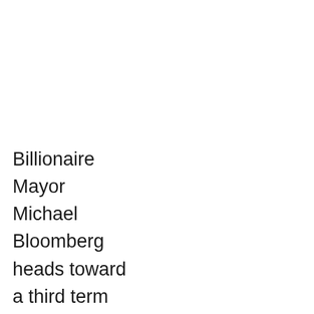Billionaire Mayor Michael Bloomberg heads toward a third term bruised by a surprisingly close re-election battle that exposed lingering anger over his reversal on term limits and his prodigious campaign spending.